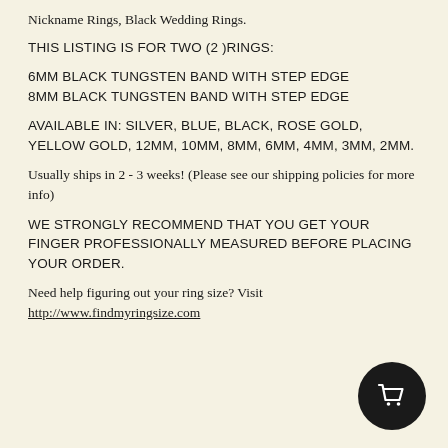Nickname Rings, Black Wedding Rings.
THIS LISTING IS FOR TWO (2 )RINGS:
6MM BLACK TUNGSTEN BAND WITH STEP EDGE
8MM BLACK TUNGSTEN BAND WITH STEP EDGE
AVAILABLE IN: SILVER, BLUE, BLACK, ROSE GOLD, YELLOW GOLD, 12MM, 10MM, 8MM, 6MM, 4MM, 3MM, 2MM.
Usually ships in 2 - 3 weeks! (Please see our shipping policies for more info)
WE STRONGLY RECOMMEND THAT YOU GET YOUR FINGER PROFESSIONALLY MEASURED BEFORE PLACING YOUR ORDER.
Need help figuring out your ring size? Visit http://www.findmyringsize.com